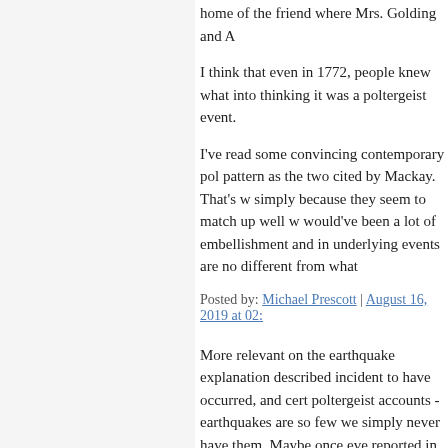home of the friend where Mrs. Golding and A
I think that even in 1772, people knew what into thinking it was a poltergeist event.
I've read some convincing contemporary pol pattern as the two cited by Mackay. That's w simply because they seem to match up well w would've been a lot of embellishment and in underlying events are no different from what
Posted by: Michael Prescott | August 16, 2019 at 02:
More relevant on the earthquake explanation described incident to have occurred, and cert poltergeist accounts - earthquakes are so few we simply never have them. Maybe once eve reported in the media because a number of p move or a tile slip off their roof. The idea of across the room and followed by equally effe impossible, would be so notable as to be a fa poltergeist.
Posted by: Lawrence B | August 19, 2019 at 06:41 A